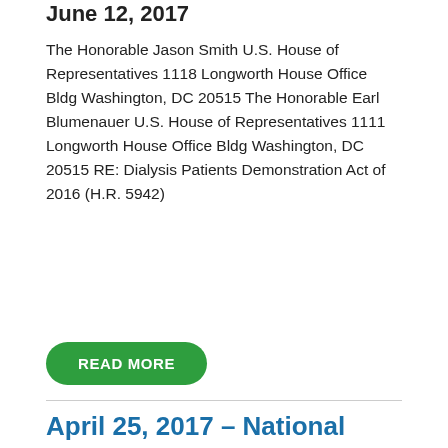June 12, 2017
The Honorable Jason Smith U.S. House of Representatives 1118 Longworth House Office Bldg Washington, DC 20515 The Honorable Earl Blumenauer U.S. House of Representatives 1111 Longworth House Office Bldg Washington, DC 20515 RE: Dialysis Patients Demonstration Act of 2016 (H.R. 5942)
READ MORE
April 25, 2017 – National Clinical Care Commission